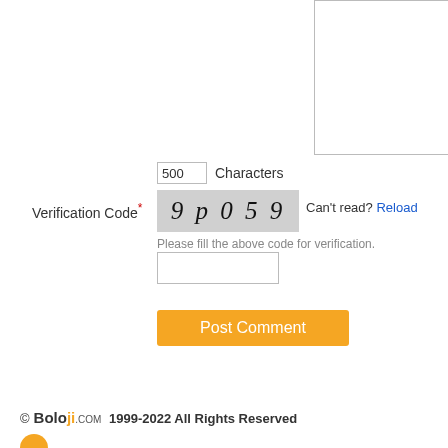[Figure (screenshot): Textarea input box, empty, for entering a comment]
500 Characters
Verification Code*
[Figure (screenshot): Captcha image showing text '9p059' on grey background]
Can't read? Reload
Please fill the above code for verification.
[Figure (screenshot): Verification code input field, empty]
[Figure (screenshot): Post Comment button in orange]
© Boloji.com 1999-2022 All Rights Reserved